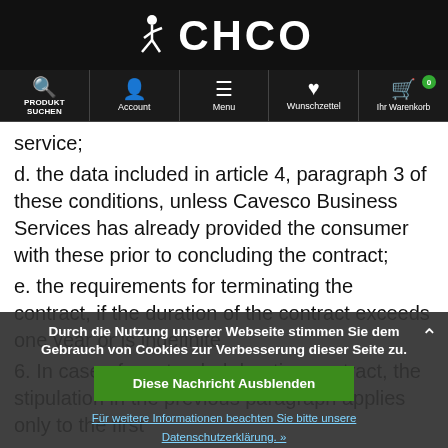CHCO
[Figure (screenshot): CHCO website navigation bar with icons for Produkt Suchen, Account, Menu, Wunschzettel, Ihr Warenkorb]
service;
d. the data included in article 4, paragraph 3 of these conditions, unless Cavesco Business Services has already provided the consumer with these prior to concluding the contract;
e. the requirements for terminating the contract, if the duration of the contract exceeds one year or is indefinite.
6. In case of a extended duration contract, the stipulation in the previous paragraph applies only to the first delivery.
Article 6 – Right of withdrawal
[Figure (screenshot): Cookie consent overlay in German: Durch die Nutzung unserer Webseite stimmen Sie dem Gebrauch von Cookies zur Verbesserung dieser Seite zu. Button: Diese Nachricht Ausblenden. Link: Für weitere Informationen beachten Sie bitte unsere Datenschutzerklärung. »]